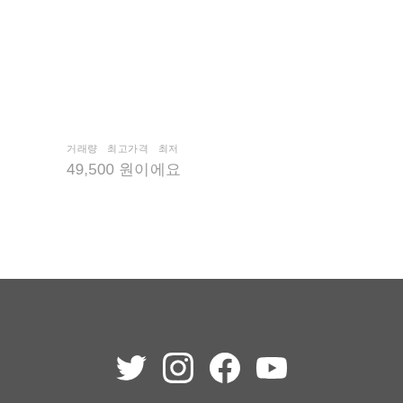거래량 최고가격 최저
49,500 원이에요
[Figure (other): Social media icons: Twitter, Instagram, Facebook, YouTube on dark gray footer background]